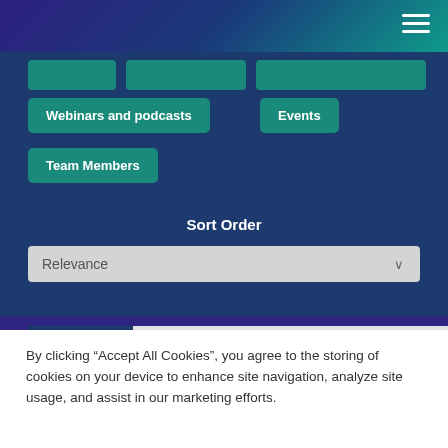[Figure (screenshot): Top gradient navigation header with hamburger menu icon, background gradient from dark purple to teal]
Webinars and podcasts
Events
Team Members
Sort Order
Relevance
NEWS
Points Based Calculator to be Switched Off
By clicking “Accept All Cookies”, you agree to the storing of cookies on your device to enhance site navigation, analyze site usage, and assist in our marketing efforts.